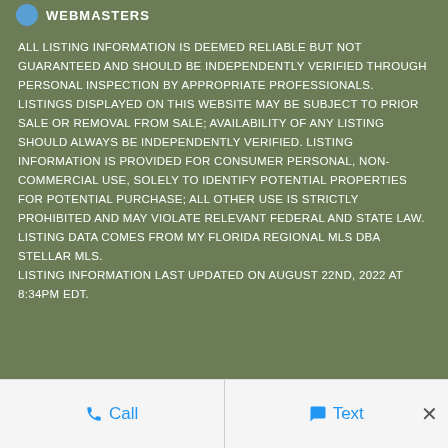WEBMASTERS
ALL LISTING INFORMATION IS DEEMED RELIABLE BUT NOT GUARANTEED AND SHOULD BE INDEPENDENTLY VERIFIED THROUGH PERSONAL INSPECTION BY APPROPRIATE PROFESSIONALS. LISTINGS DISPLAYED ON THIS WEBSITE MAY BE SUBJECT TO PRIOR SALE OR REMOVAL FROM SALE; AVAILABILITY OF ANY LISTING SHOULD ALWAYS BE INDEPENDENTLY VERIFIED. LISTING INFORMATION IS PROVIDED FOR CONSUMER PERSONAL, NON-COMMERCIAL USE, SOLELY TO IDENTIFY POTENTIAL PROPERTIES FOR POTENTIAL PURCHASE; ALL OTHER USE IS STRICTLY PROHIBITED AND MAY VIOLATE RELEVANT FEDERAL AND STATE LAW. LISTING DATA COMES FROM MY FLORIDA REGIONAL MLS DBA STELLAR MLS. LISTING INFORMATION LAST UPDATED ON AUGUST 22ND, 2022 AT 8:34PM EDT.
Call  Text